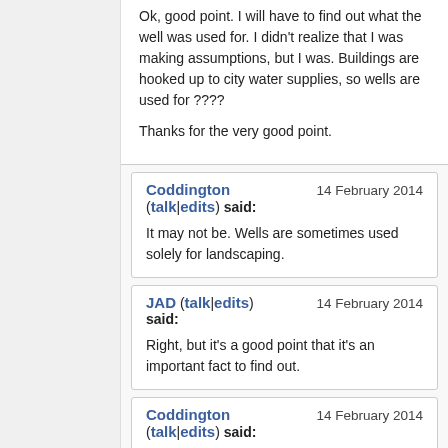Ok, good point. I will have to find out what the well was used for. I didn't realize that I was making assumptions, but I was. Buildings are hooked up to city water supplies, so wells are used for ????

Thanks for the very good point.
Coddington (talk|edits) said:
14 February 2014
It may not be. Wells are sometimes used solely for landscaping.
JAD (talk|edits) said:
14 February 2014
Right, but it's a good point that it's an important fact to find out.
Coddington (talk|edits) said:
14 February 2014